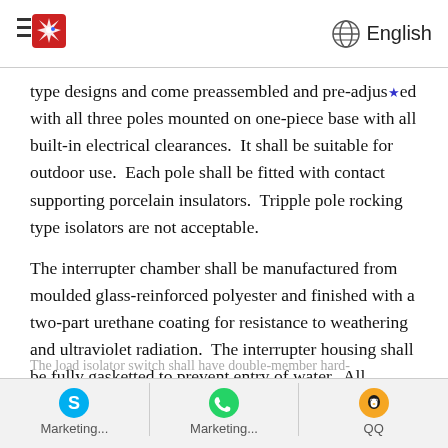English
type designs and come preassembled and pre-adjusted with all three poles mounted on one-piece base with all built-in electrical clearances.  It shall be suitable for outdoor use.  Each pole shall be fitted with contact supporting porcelain insulators.  Tripple pole rocking type isolators are not acceptable.
The interrupter chamber shall be manufactured from moulded glass-reinforced polyester and finished with a two-part urethane coating for resistance to weathering and ultraviolet radiation.  The interrupter housing shall be fully gasketted to prevent entry of water.  All current-carrying parts shall be manufactured from copper or copper-based materials.
The load isolator switch shall have double-member hard-
Marketing...  Marketing...  QQ